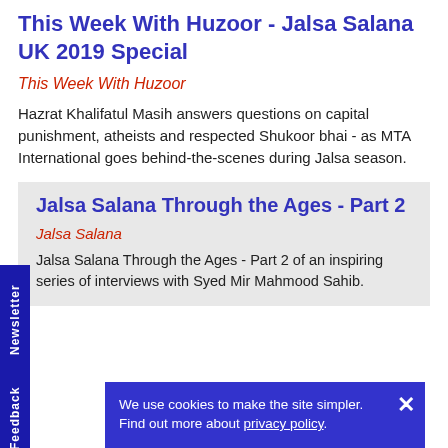This Week With Huzoor - Jalsa Salana UK 2019 Special
This Week With Huzoor
Hazrat Khalifatul Masih answers questions on capital punishment, atheists and respected Shukoor bhai - as MTA International goes behind-the-scenes during Jalsa season.
Jalsa Salana Through the Ages - Part 2
Jalsa Salana
Jalsa Salana Through the Ages - Part 2 of an inspiring series of interviews with Syed Mir Mahmood Sahib.
We use cookies to make the site simpler. Find out more about privacy policy.